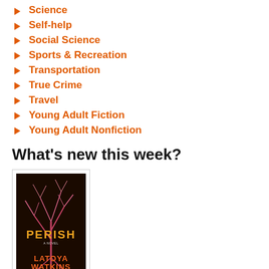Science
Self-help
Social Science
Sports & Recreation
Transportation
True Crime
Travel
Young Adult Fiction
Young Adult Nonfiction
What's new this week?
[Figure (photo): Book cover of 'Perish' by Latoya Watkins — dark background with a tree and colorful text]
Readings, book clubs, and other events
Monday, August 29, 2022 - 6:00pm
Fox Creek by William Kent Krueger